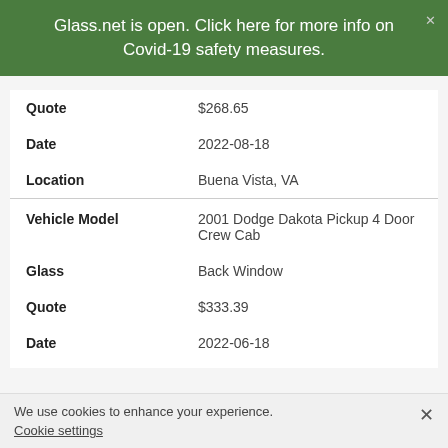Glass.net is open. Click here for more info on Covid-19 safety measures.
| Quote | $268.65 |
| Date | 2022-08-18 |
| Location | Buena Vista, VA |
| Vehicle Model | 2001 Dodge Dakota Pickup 4 Door Crew Cab |
| Glass | Back Window |
| Quote | $333.39 |
| Date | 2022-06-18 |
| Location | Buena Vista, VA |
| Vehicle Model | 1987 Ford Ranger Pickup 2 Door |
We use cookies to enhance your experience.
Cookie settings